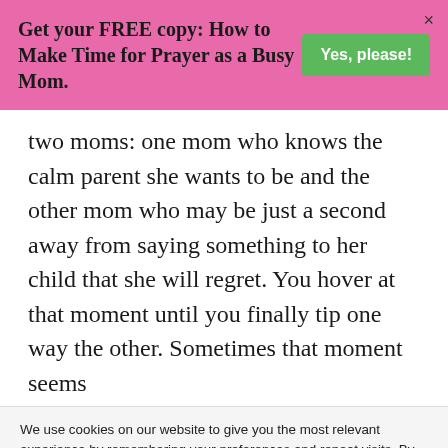Get your FREE copy: How to Make Time for Prayer as a Busy Mom.
two moms: one mom who knows the calm parent she wants to be and the other mom who may be just a second away from saying something to her child that she will regret. You hover at that moment until you finally tip one way the other. Sometimes that moment seems
We use cookies on our website to give you the most relevant experience by remembering your preferences and repeat visits. By clicking “Accept”, you consent to the use of ALL the cookies. Do not sell my personal information.